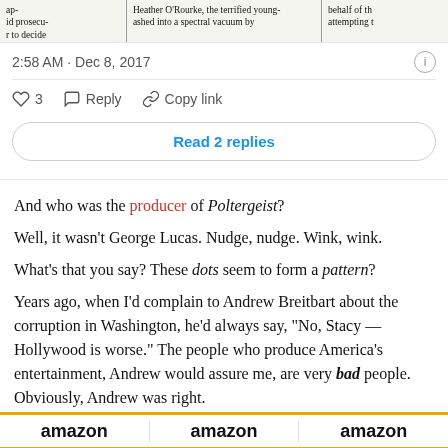[Figure (screenshot): Newspaper clipping image strip showing partial text about Heather O'Rourke and a spectral vacuum]
2:58 AM · Dec 8, 2017
♡ 3   Reply   Copy link
Read 2 replies
And who was the producer of Poltergeist?
Well, it wasn't George Lucas. Nudge, nudge. Wink, wink.
What's that you say? These dots seem to form a pattern?
Years ago, when I'd complain to Andrew Breitbart about the corruption in Washington, he'd always say, "No, Stacy — Hollywood is worse." The people who produce America's entertainment, Andrew would assure me, are very bad people. Obviously, Andrew was right.
[Figure (other): Donate button (yellow/orange pill shape) with PayPal-style payment icons below (Visa, Mastercard, Maestro, American Express, Discover, JCB)]
[Figure (other): Amazon logo repeated three times in a row with orange border stripe]